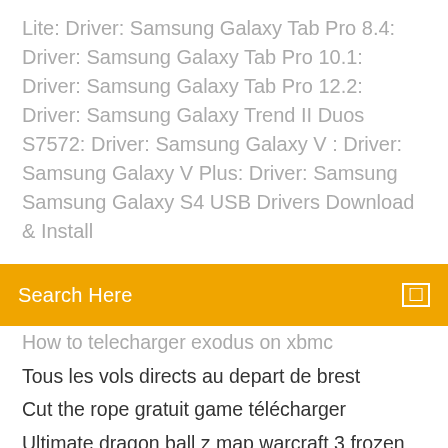Lite: Driver: Samsung Galaxy Tab Pro 8.4: Driver: Samsung Galaxy Tab Pro 10.1: Driver: Samsung Galaxy Tab Pro 12.2: Driver: Samsung Galaxy Trend II Duos S7572: Driver: Samsung Galaxy V : Driver: Samsung Galaxy V Plus: Driver: Samsung Samsung Galaxy S4 USB Drivers Download & Install
Search Here
How to telecharger exodus on xbmc
Tous les vols directs au depart de brest
Cut the rope gratuit game télécharger
Ultimate dragon ball z map warcraft 3 frozen throne
Telecharger peripherique audio gratuit windows 8
Télécharger et convertir une vidéo youtube avec vlc
Stopper les mises à jour windows 8
Telecharger last day on earth pour pc
Barre des taches windows 8 disparue
Latest citrix receiver for pc
Comment telecharger telecommande gratuit sur mobile